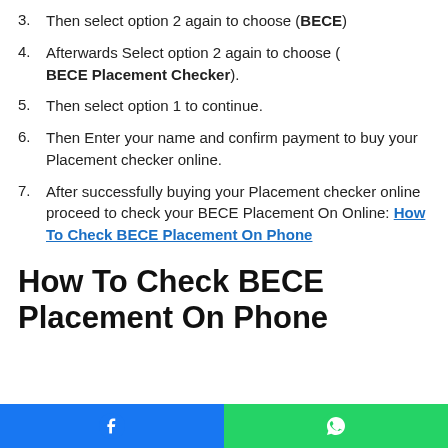3. Then select option 2 again to choose (BECE)
4. Afterwards Select option 2 again to choose ( BECE Placement Checker).
5. Then select option 1 to continue.
6. Then Enter your name and confirm payment to buy your Placement checker online.
7. After successfully buying your Placement checker online proceed to check your BECE Placement On Online: How To Check BECE Placement On Phone
How To Check BECE Placement On Phone